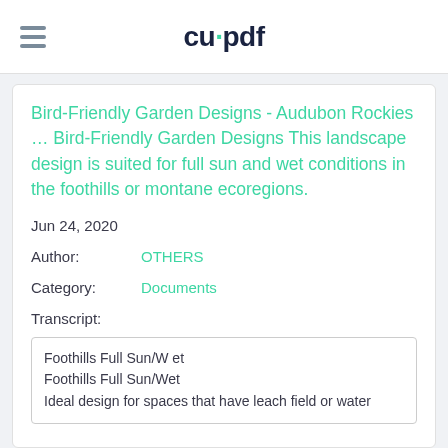cupdf
Bird-Friendly Garden Designs - Audubon Rockies … Bird-Friendly Garden Designs This landscape design is suited for full sun and wet conditions in the foothills or montane ecoregions.
Jun 24, 2020
Author:   OTHERS
Category:   Documents
Transcript:
Foothills Full Sun/W et
Foothills Full Sun/Wet
Ideal design for spaces that have leach field or water